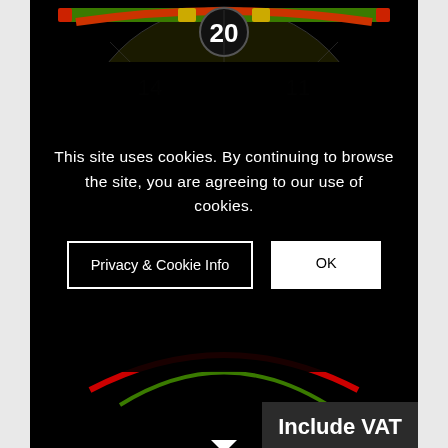[Figure (screenshot): Dartboard website screenshot with cookie consent overlay showing 'This site uses cookies. By continuing to browse the site, you are agreeing to our use of cookies.' with 'Privacy & Cookie Info' and 'OK' buttons. An 'Include VAT' label appears in the lower right. Below the screenshot is a product card showing 'Number Target' priced at '£188.00 Excl. VAT'. Pagination shows page 1 of 2.]
This site uses cookies. By continuing to browse the site, you are agreeing to our use of cookies.
Privacy & Cookie Info
OK
Include VAT
Number Target
£188.00 Excl. VAT
1  2  Page 1 of 2